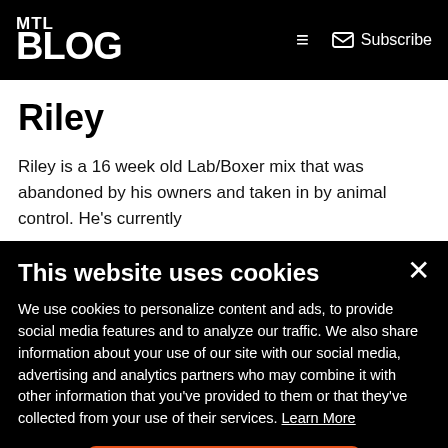MTL Blog — Subscribe
Riley
Riley is a 16 week old Lab/Boxer mix that was abandoned by his owners and taken in by animal control. He's currently
This website uses cookies
We use cookies to personalize content and ads, to provide social media features and to analyze our traffic. We also share information about your use of our site with our social media, advertising and analytics partners who may combine it with other information that you've provided to them or that they've collected from your use of their services. Learn More
Yes, I Accept